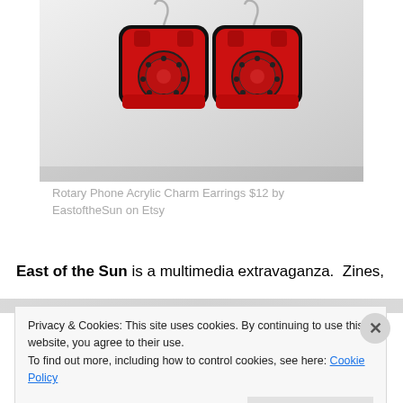[Figure (photo): Two red rotary phone acrylic charm earrings with silver ear hooks on a white/grey background]
Rotary Phone Acrylic Charm Earrings $12 by EastoftheSun on Etsy
East of the Sun is a multimedia extravaganza.  Zines,
Privacy & Cookies: This site uses cookies. By continuing to use this website, you agree to their use.
To find out more, including how to control cookies, see here: Cookie Policy
Close and accept